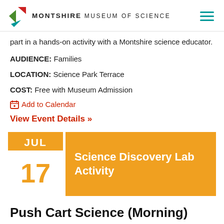MONTSHIRE MUSEUM OF SCIENCE
part in a hands-on activity with a Montshire science educator.
AUDIENCE: Families
LOCATION: Science Park Terrace
COST: Free with Museum Admission
Add to Calendar
View Event Details »
[Figure (infographic): Orange event card with date JUL 17 and title Science Discovery Lab Activity]
Push Cart Science (Morning)